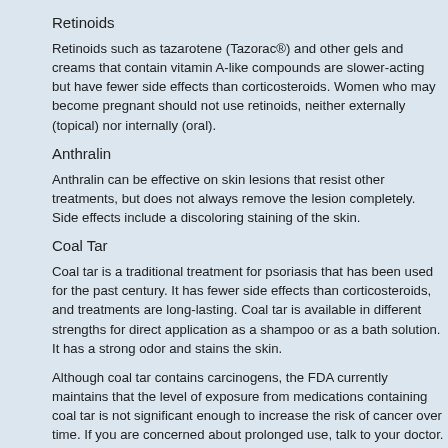Retinoids
Retinoids such as tazarotene (Tazorac®) and other gels and creams that contain vitamin A-like compounds are slower-acting but have fewer side effects than corticosteroids. Women who may become pregnant should not use retinoids, neither externally (topical) nor internally (oral).
Anthralin
Anthralin can be effective on skin lesions that resist other treatments, but does not always remove the lesion completely. Side effects include a discoloring staining of the skin.
Coal Tar
Coal tar is a traditional treatment for psoriasis that has been used for the past century. It has fewer side effects than corticosteroids, and treatments are long-lasting. Coal tar is available in different strengths for direct application as a shampoo or as a bath solution. It has a strong odor and stains the skin.
Although coal tar contains carcinogens, the FDA currently maintains that the level of exposure from medications containing coal tar is not significant enough to increase the risk of cancer over time. If you are concerned about prolonged use, talk to your doctor.